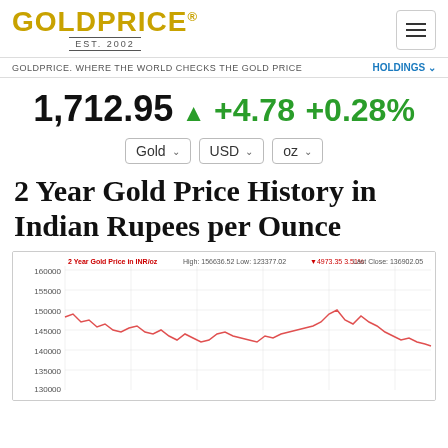GOLDPRICE® EST. 2002
GOLDPRICE. WHERE THE WORLD CHECKS THE GOLD PRICE    HOLDINGS
1,712.95 ▲ +4.78 +0.28%
Gold  USD  oz
2 Year Gold Price History in Indian Rupees per Ounce
[Figure (line-chart): 2-year gold price line chart in Indian Rupees per ounce. High: 156636.52, Low: 123377.02, change: -4973.35, -3.51%. Last Close: 136902.05. Y-axis shows values from ~130000 to 160000. The line is red/pink showing price fluctuations over 2 years.]